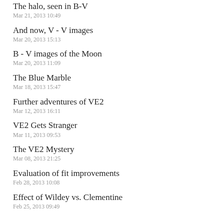The halo, seen in B-V
Mar 21, 2013 10:49
And now, V - V images
Mar 20, 2013 15:13
B - V images of the Moon
Mar 20, 2013 11:09
The Blue Marble
Mar 18, 2013 15:47
Further adventures of VE2
Mar 12, 2013 16:11
VE2 Gets Stranger
Mar 11, 2013 09:53
The VE2 Mystery
Mar 08, 2013 21:25
Evaluation of fit improvements
Feb 28, 2013 10:08
Effect of Wildey vs. Clementine
Feb 25, 2013 09:49